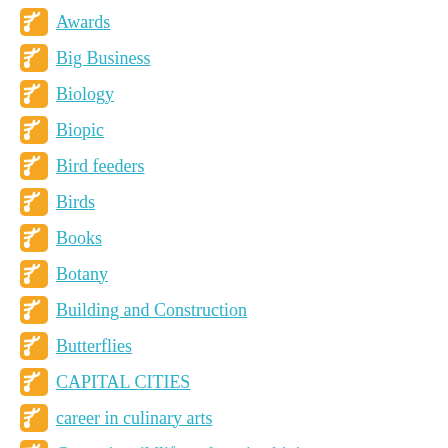Awards
Big Business
Biology
Biopic
Bird feeders
Birds
Books
Botany
Building and Construction
Butterflies
CAPITAL CITIES
career in culinary arts
Career in wildlife and marine bioi
Career in wildlife and marine biology